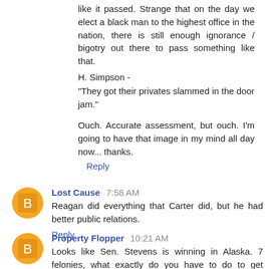like it passed. Strange that on the day we elect a black man to the highest office in the nation, there is still enough ignorance / bigotry out there to pass something like that.
H. Simpson -
"They got their privates slammed in the door jam."
Ouch. Accurate assessment, but ouch. I'm going to have that image in my mind all day now... thanks.
Reply
Lost Cause 7:58 AM
Reagan did everything that Carter did, but he had better public relations.
Reply
Property Flopper 10:21 AM
Looks like Sen. Stevens is winning in Alaska. 7 felonies, what exactly do you have to do to get booted out?